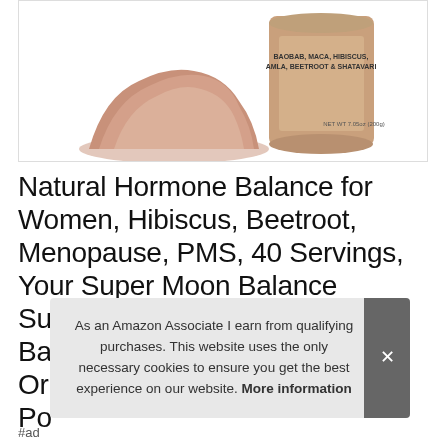[Figure (photo): Product photo: a tan/kraft cylindrical container labeled with ingredients (Baobab, Maca, Hibiscus, Amla, Beetroot & Shatavari, Net Wt 7.05oz/200g) next to a pile of pinkish-rose powder on a white background]
Natural Hormone Balance for Women, Hibiscus, Beetroot, Menopause, PMS, 40 Servings, Your Super Moon Balance Superfood Powder, Plant Based, Or... Po...
As an Amazon Associate I earn from qualifying purchases. This website uses the only necessary cookies to ensure you get the best experience on our website. More information
#ad